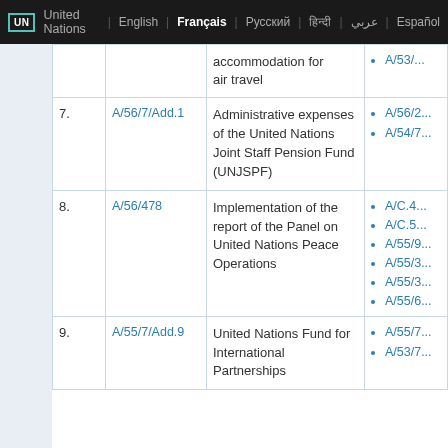UN United Nations | English | Français | Русский | हिन्दी | عربي | Español
| No. | Document | Description | Related documents |
| --- | --- | --- | --- |
|  |  | accommodation for air travel | • A/53/... |
| 7. | A/56/7/Add.1 | Administrative expenses of the United Nations Joint Staff Pension Fund (UNJSPF) | • A/56/2...
• A/54/7... |
| 8. | A/56/478 | Implementation of the report of the Panel on United Nations Peace Operations | • A/C.4...
• A/C.5...
• A/55/9...
• A/55/3...
• A/55/3...
• A/55/6... |
| 9. | A/55/7/Add.9 | United Nations Fund for International Partnerships | • A/55/7...
• A/53/7... |